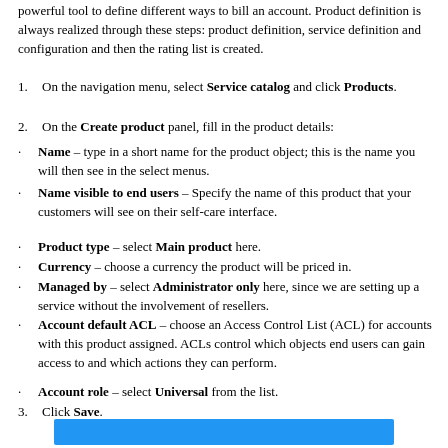powerful tool to define different ways to bill an account. Product definition is always realized through these steps: product definition, service definition and configuration and then the rating list is created.
On the navigation menu, select Service catalog and click Products.
On the Create product panel, fill in the product details:
Name – type in a short name for the product object; this is the name you will then see in the select menus.
Name visible to end users – Specify the name of this product that your customers will see on their self-care interface.
Product type – select Main product here.
Currency – choose a currency the product will be priced in.
Managed by – select Administrator only here, since we are setting up a service without the involvement of resellers.
Account default ACL – choose an Access Control List (ACL) for accounts with this product assigned. ACLs control which objects end users can gain access to and which actions they can perform.
Account role – select Universal from the list.
Click Save.
[Figure (other): Blue horizontal bar at the bottom of the page]